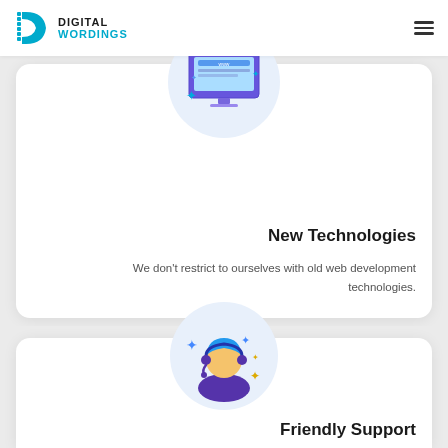[Figure (logo): Digital Wordings logo with cyan D icon and bold text]
[Figure (illustration): Computer monitor with www text and sparkles icon on light blue circular background — New Technologies card]
New Technologies
We don’t restrict to ourselves with old web development technologies.
[Figure (illustration): Customer support person with headset and blue hair, sparkles, on light blue circular background — Friendly Support card]
Friendly Support